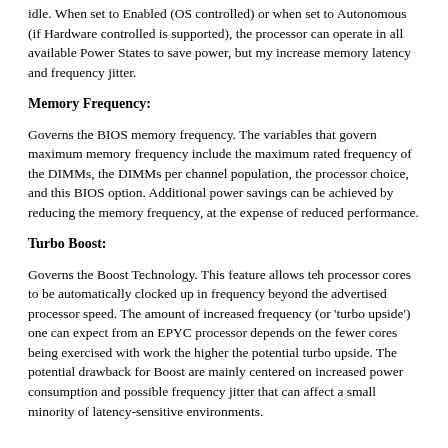idle. When set to Enabled (OS controlled) or when set to Autonomous (if Hardware controlled is supported), the processor can operate in all available Power States to save power, but my increase memory latency and frequency jitter.
Memory Frequency:
Governs the BIOS memory frequency. The variables that govern maximum memory frequency include the maximum rated frequency of the DIMMs, the DIMMs per channel population, the processor choice, and this BIOS option. Additional power savings can be achieved by reducing the memory frequency, at the expense of reduced performance.
Turbo Boost:
Governs the Boost Technology. This feature allows teh processor cores to be automatically clocked up in frequency beyond the advertised processor speed. The amount of increased frequency (or 'turbo upside') one can expect from an EPYC processor depends on the fewer cores being exercised with work the higher the potential turbo upside. The potential drawback for Boost are mainly centered on increased power consumption and possible frequency jitter that can affect a small minority of latency-sensitive environments.